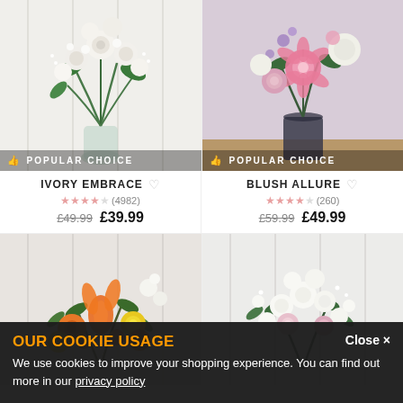[Figure (photo): White flower bouquet in glass vase with 'POPULAR CHOICE' badge - Ivory Embrace]
[Figure (photo): Pink and white flower bouquet in dark vase with 'POPULAR CHOICE' badge - Blush Allure]
IVORY EMBRACE
★★★★☆ (4982) £49.99 £39.99
BLUSH ALLURE
★★★★☆ (260) £59.99 £49.99
[Figure (photo): Orange and yellow flower bouquet]
[Figure (photo): White and pink flower bouquet]
OUR COOKIE USAGE
We use cookies to improve your shopping experience. You can find out more in our privacy policy
Close ×